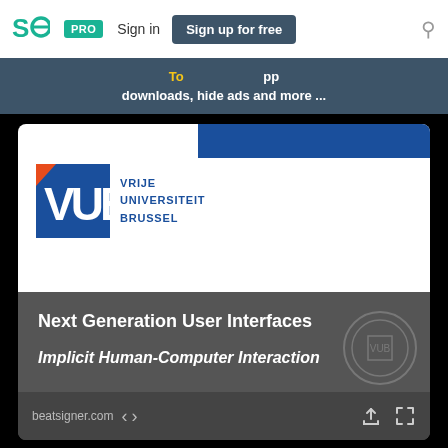SJ PRO Sign in Sign up for free
downloads, hide ads and more ...
[Figure (screenshot): SlideShare-style presentation slide cover for 'Next Generation User Interfaces - Implicit Human-Computer Interaction' by Prof. Beat Signer, Department of Computer Science, Vrije Universiteit Brussel. Features VUB logo with blue square and orange triangle accent, blue header bar, dark grey lower section with white text.]
Next Generation User Interfaces
Implicit Human-Computer Interaction
Prof. Beat Signer
Department of Computer Science
Vrije Universiteit Brussel
beatsigner.com